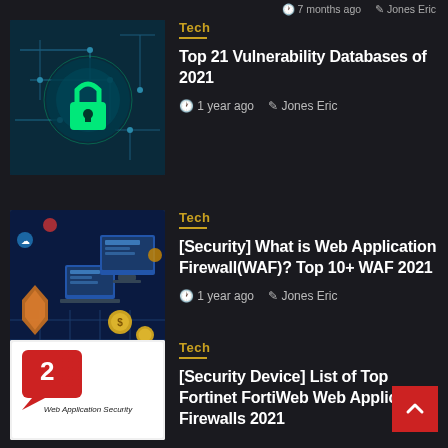7 months ago  Jones Eric
[Figure (illustration): Cybersecurity circuit board with glowing green lock icon]
Tech
Top 21 Vulnerability Databases of 2021
1 year ago  Jones Eric
[Figure (illustration): Web application security concept with laptops, shield, coins, and network elements]
Tech
[Security] What is Web Application Firewall(WAF)? Top 10+ WAF 2021
1 year ago  Jones Eric
[Figure (illustration): Web Application Security logo with red speech bubble showing number 2]
Tech
[Security Device] List of Top Fortinet FortiWeb Web Application Firewalls 2021